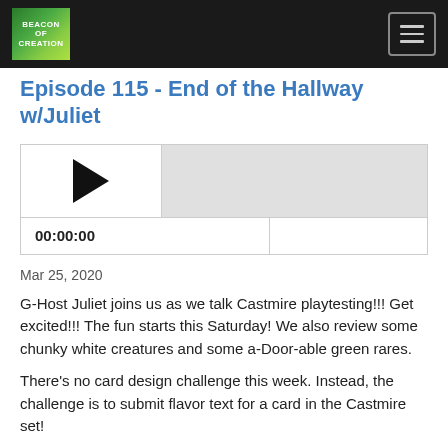Beacon of Creation
Episode 115 - End of the Hallway w/Juliet
[Figure (other): Audio player widget with play button, progress bar, time display (00:00:00), and seek bar]
Mar 25, 2020
G-Host Juliet joins us as we talk Castmire playtesting!!! Get excited!!! The fun starts this Saturday! We also review some chunky white creatures and some a-Door-able green rares.
There’s no card design challenge this week. Instead, the challenge is to submit flavor text for a card in the Castmire set!
Follow...
Read More